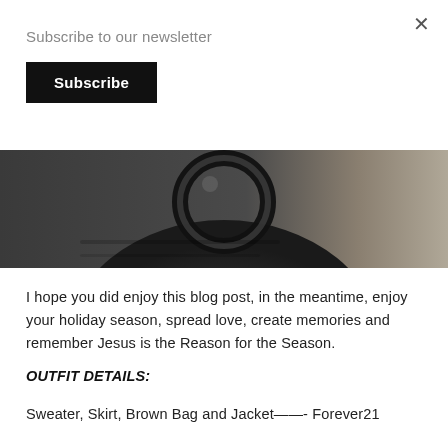Subscribe to our newsletter
Subscribe
[Figure (photo): Close-up photo of a dark/black leather handbag with a circular handle, against a light beige/tan background]
I hope you did enjoy this blog post, in the meantime, enjoy your holiday season, spread love, create memories and remember Jesus is the Reason for the Season.
OUTFIT DETAILS:
Sweater, Skirt, Brown Bag and Jacket——- Forever21